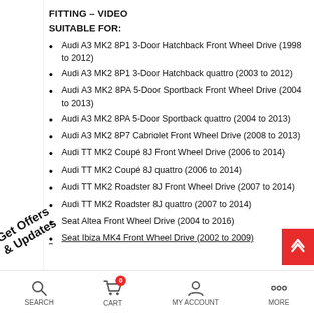FITTING – VIDEO
SUITABLE FOR:
Audi A3 MK2 8P1 3-Door Hatchback Front Wheel Drive (1998 to 2012)
Audi A3 MK2 8P1 3-Door Hatchback quattro (2003 to 2012)
Audi A3 MK2 8PA 5-Door Sportback Front Wheel Drive (2004 to 2013)
Audi A3 MK2 8PA 5-Door Sportback quattro (2004 to 2013)
Audi A3 MK2 8P7 Cabriolet Front Wheel Drive (2008 to 2013)
Audi TT MK2 Coupé 8J Front Wheel Drive (2006 to 2014)
Audi TT MK2 Coupé 8J quattro (2006 to 2014)
Audi TT MK2 Roadster 8J Front Wheel Drive (2007 to 2014)
Audi TT MK2 Roadster 8J quattro (2007 to 2014)
Seat Altea Front Wheel Drive (2004 to 2016)
Seat Ibiza MK4 Front Wheel Drive (2002 to 2009)
SEARCH  CART  MY ACCOUNT  MORE